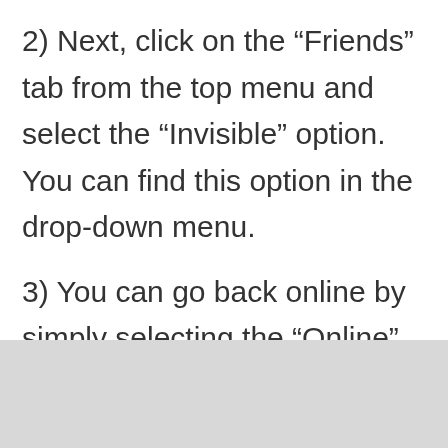2) Next, click on the “Friends” tab from the top menu and select the “Invisible” option. You can find this option in the drop-down menu.
3) You can go back online by simply selecting the “Online” option from the drop-down menu.